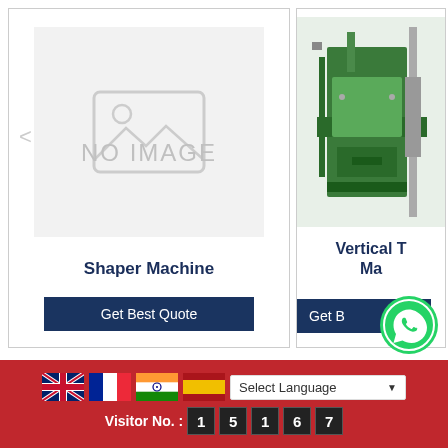[Figure (screenshot): Product card for Shaper Machine with no image placeholder showing mountain/landscape icon and NO IMAGE text, left arrow navigation, product title and Get Best Quote button]
[Figure (photo): Partial product card for Vertical Turret Machine (partially cropped) showing green industrial vertical turret machine, product title and Get Best Quote button (partially visible)]
[Figure (other): WhatsApp floating button icon (green circle with WhatsApp logo)]
Select Language | Visitor No. : 1 5 1 6 7 | Flags: UK, France, India, Spain